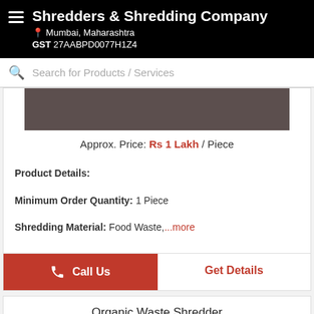Shredders & Shredding Company | Mumbai, Maharashtra | GST 27AABPD0077H1Z4
Search for Products / Services
[Figure (photo): Dark brownish-grey product image placeholder]
Approx. Price: Rs 1 Lakh / Piece
Product Details:
Minimum Order Quantity: 1 Piece
Shredding Material: Food Waste,...more
Call Us
Get Details
Organic Waste Shredder
[Figure (photo): Dark brownish-grey product image placeholder for Organic Waste Shredder]